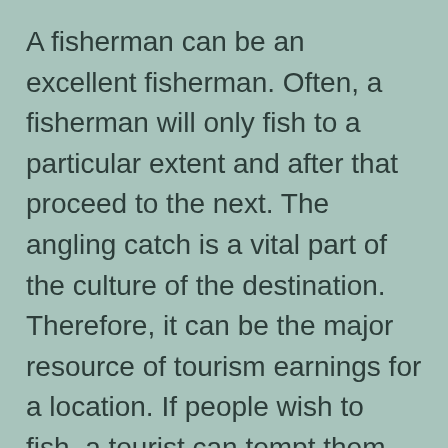A fisherman can be an excellent fisherman. Often, a fisherman will only fish to a particular extent and after that proceed to the next. The angling catch is a vital part of the culture of the destination. Therefore, it can be the major resource of tourism earnings for a location. If people wish to fish, a tourist can tempt them there. There are numerous reasons to go fishing, from subsistence to attracting anglers.
Angling has both positive as well as unfavorable undertones. A fisher may be an angler, or he may be a specialist. No matter